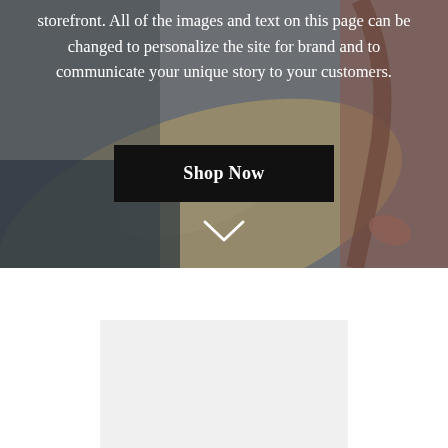[Figure (photo): Background photo of a person carrying a surfboard, muted tan/beige surfboard visible, dark overlay, person's arm visible at right]
storefront. All of the images and text on this page can be changed to personalize the site for brand and to communicate your unique story to your customers.
Shop Now
[Figure (other): Chevron/down arrow icon in white]
[Figure (photo): Light gray placeholder image/product image block]